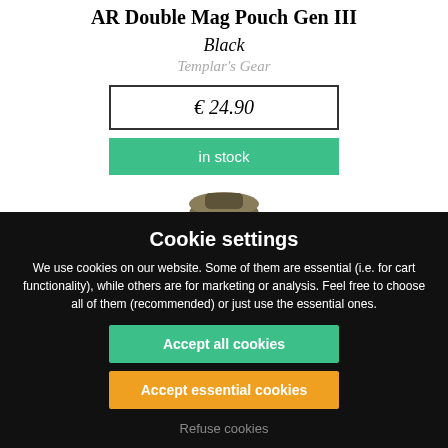AR Double Mag Pouch Gen III
Black
Templar's Gear
€ 24.90
in stock
[Figure (photo): Olive/tan colored AR double magazine pouch, shown from the front]
Cookie settings
We use cookies on our website. Some of them are essential (i.e. for cart functionality), while others are for marketing or analysis. Feel free to choose all of them (recommended) or just use the essential ones.
Accept all cookies
Accept essential cookies
Refuse cookies